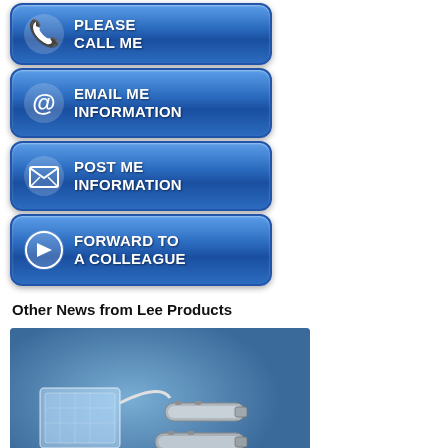[Figure (illustration): Blue rounded button with phone icon and text PLEASE CALL ME]
[Figure (illustration): Blue rounded button with @ icon and text EMAIL ME INFORMATION]
[Figure (illustration): Blue rounded button with envelope icon and text POST ME INFORMATION]
[Figure (illustration): Blue rounded button with arrow icon and text FORWARD TO A COLLEAGUE]
Other News from Lee Products
[Figure (photo): Product photo of Lee Products fluidic components including a transparent manifold block and cylindrical solenoid valves on a blue background]